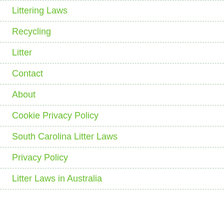Littering Laws
Recycling
Litter
Contact
About
Cookie Privacy Policy
South Carolina Litter Laws
Privacy Policy
Litter Laws in Australia